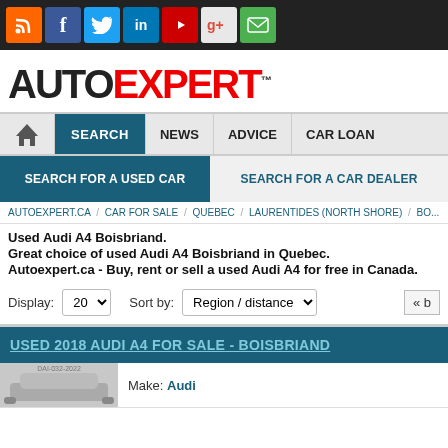Social media bar with icons: RSS, Facebook, Twitter, LinkedIn, YouTube, Google+, Email
[Figure (logo): AutoEXPERT logo — 'auto' in dark grey, 'EXPERT' in red, uppercase, bold, with TM superscript]
Navigation: Home | SEARCH (active) | NEWS | ADVICE | CAR LOAN
Sub-navigation: SEARCH FOR A USED CAR (active) | SEARCH FOR A CAR DEALER
Breadcrumb: AUTOEXPERT.CA / CAR FOR SALE / QUEBEC / LAURENTIDES (NORTH SHORE) / BO...
Used Audi A4 Boisbriand.
Great choice of used Audi A4 Boisbriand in Quebec.
Autoexpert.ca - Buy, rent or sell a used Audi A4 for free in Canada.
Display: 20   Sort by: Region / distance   « b
USED 2018 AUDI A4 FOR SALE - BOISBRIAND
Make: Audi